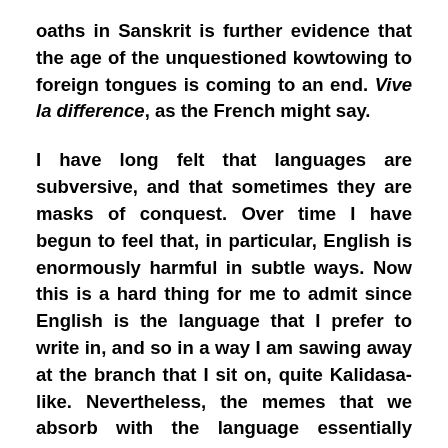oaths in Sanskrit is further evidence that the age of the unquestioned kowtowing to foreign tongues is coming to an end. Vive la difference, as the French might say.
I have long felt that languages are subversive, and that sometimes they are masks of conquest. Over time I have begun to feel that, in particular, English is enormously harmful in subtle ways. Now this is a hard thing for me to admit since English is the language that I prefer to write in, and so in a way I am sawing away at the branch that I sit on, quite Kalidasa-like. Nevertheless, the memes that we absorb with the language essentially deracinate us, because they are so alien.
For instance, it was intriguing to hear recently from